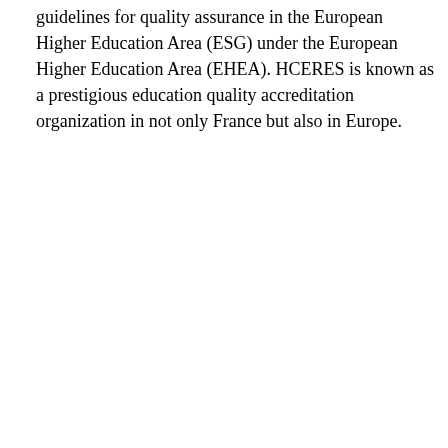guidelines for quality assurance in the European Higher Education Area (ESG) under the European Higher Education Area (EHEA). HCERES is known as a prestigious education quality accreditation organization in not only France but also in Europe.